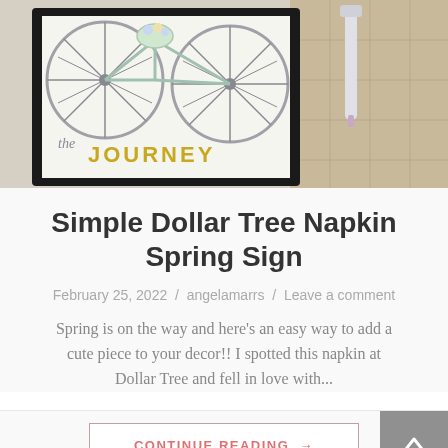[Figure (photo): Photo of a craft project showing a napkin with bicycles and the word JOURNEY in gold letters, framed in black, placed on a table with markers nearby]
Simple Dollar Tree Napkin Spring Sign
February 25, 2022  /  angelamarrs  /  Leave a comment
Spring is on the way and here's an easy way to add a cute piece to your decor!! I spotted this napkin at Dollar Tree and fell in love with...
CONTINUE READING →